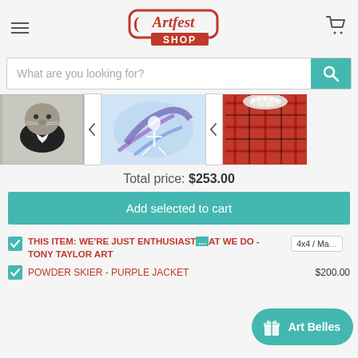[Figure (logo): Artfest Shop logo — red speech bubble with 'Artfest' in red serif font, 'SHOP' in white on red banner, red stars along bottom]
[Figure (screenshot): Search bar with placeholder text 'What are you looking for?' and teal search button with magnifying glass icon]
[Figure (photo): Three product images in a carousel row: otter in suit (B&W), purple skier painting (blue/purple), tartan dress with rhinestone collar]
Total price: $253.00
Add selected to cart
THIS ITEM: WE'RE JUST ENTHUSIASTICALLY BAD AT WE DO - TONY TAYLOR ART
4x4 / Ma...
POWDER SKIER - PURPLE JACKET  $200.00
[Figure (other): Teal gift/Art Belles pill button overlay in bottom right]